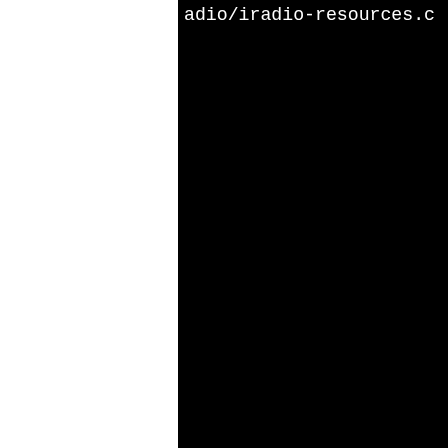adio/iradio-resources.c [225/467] x86_64-pld-linux media-server/libdbus-media us-media-server/libdbus-me us-media-server-plugin.c.o --allow-shlib-undefined -s needed -Wl,--no-copy-dt-ne elro -Wl,-z,combreloc -O2 t -Werror=format-security types-section -fvar-tracki p,-D_FORTIFY_SOURCE=2 -fst --param=ssp-buffer-size=4 fPIC -march=x86-64 -mtune= o-debug-types-section -fva s -g2 '-Wl,-rpath,$ORIGIN/ th-link,/tmp/B.vkmb6kk9/BU uild/shell -Wl,--start-gro -core.so.10.0.0 -lm /usr/l usr/lib64/libgobject-2.0.s 2.0.so /usr/lib64/libgirep ib64/libcairo.so /usr/lib6 r/lib64/libharfbuzz.so /us -2.0.so /usr/lib64/libgtk- k-3.so /usr/lib64/libpango